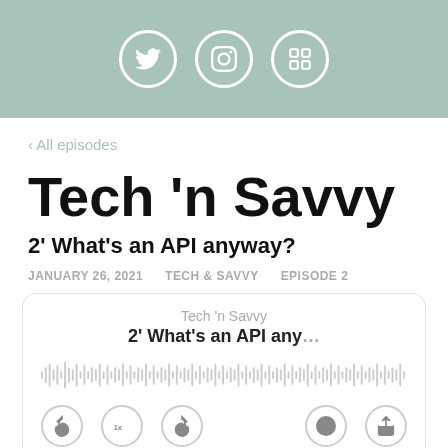[Figure (other): Header bar with social media icons: Twitter bird, Instagram camera, and a grid/table icon, all in white circles on a sage green background]
‹ All episodes
Tech 'n Savvy
2' What's an API anyway?
JANUARY 26, 2021    TECH & SAVVY    EPISODE 2
[Figure (screenshot): Podcast player widget showing 'Tech 'n Savvy' podcast name, episode title '2' What's an API any…', a waveform audio scrubber, and playback controls including rewind 10s, 1x speed, forward 30s, info and share buttons]